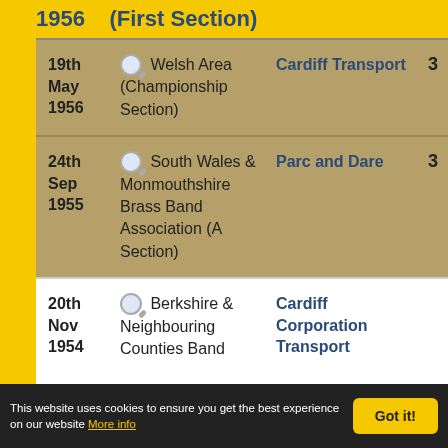| Date | Contest | Band | Pos |
| --- | --- | --- | --- |
| 1956 | (First Section) |  |  |
| 19th May 1956 | Welsh Area (Championship Section) | Cardiff Transport | 3 |
| 24th Sep 1955 | South Wales & Monmouthshire Brass Band Association (A Section) | Parc and Dare | 3 |
| 20th Nov 1954 | Berkshire & Neighbouring Counties Band | Cardiff Corporation Transport |  |
This website uses cookies to ensure you get the best experience on our website More info